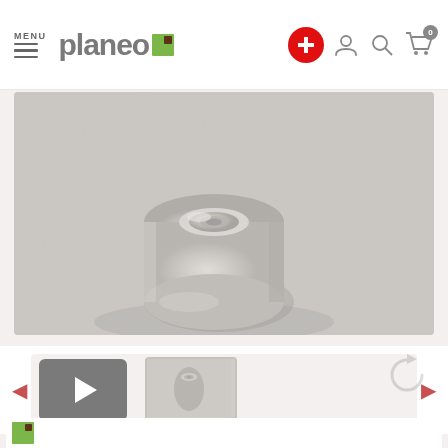[Figure (screenshot): Planeo website header with logo, hamburger menu, plus icon, user icon, search icon, and cart icon with badge showing 0]
[Figure (photo): A roll of light grey textured wallpaper shown in close-up against a grey textured background]
[Figure (screenshot): Thumbnail carousel strip with video thumbnail (play button) and a product image thumbnail, flanked by left/right arrows]
[Figure (screenshot): Partial bottom section showing a rotate/refresh icon and the top edge of a white product card]